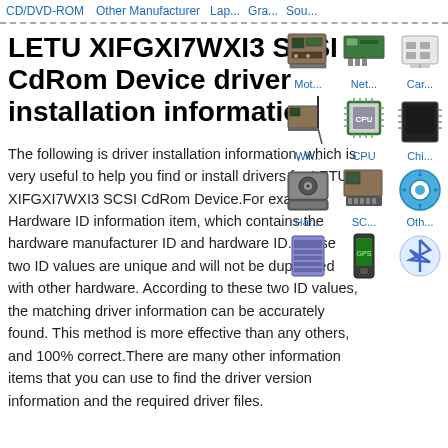CD/DVD-ROM  Other Manufacturer  Lap...  Gra...  Sou...
LETU XIFGXI7WXI3 SCSI CdRom Device driver installation information
The following is driver installation information, which is very useful to help you find or install drivers for LETU XIFGXI7WXI3 SCSI CdRom Device.For example: Hardware ID information item, which contains the hardware manufacturer ID and hardware ID. These two ID values are unique and will not be duplicated with other hardware. According to these two ID values, the matching driver information can be accurately found. This method is more effective than any others, and 100% correct.There are many other information items that you can use to find the driver version information and the required driver files.
[Figure (illustration): Grid of hardware category icons: Motherboard (Mot...), Network card (Net...), Card reader (Car...), Wireless (Wir...), CPU, Chipset (Chi...), Hard drive (Har...), SCSI (SC...), Other (Oth...), and three more partially visible icons at bottom]
Mot...  Net...  Car...
Wir...  CPU  Chi...
Har...  SC...  Oth...